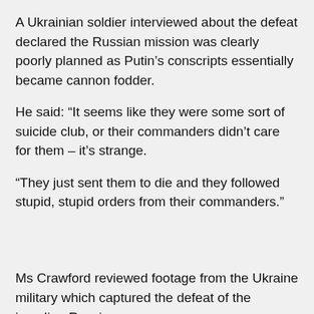A Ukrainian soldier interviewed about the defeat declared the Russian mission was clearly poorly planned as Putin's conscripts essentially became cannon fodder.
He said: “It seems like they were some sort of suicide club, or their commanders didn’t care for them – it’s strange.
“They just sent them to die and they followed stupid, stupid orders from their commanders.”
Ms Crawford reviewed footage from the Ukraine military which captured the defeat of the invading Russians.
“The footage shows Russian vehicles, some already in the river, being attacked on all sides.
“Russian soldiers are seen jumping from the top of their